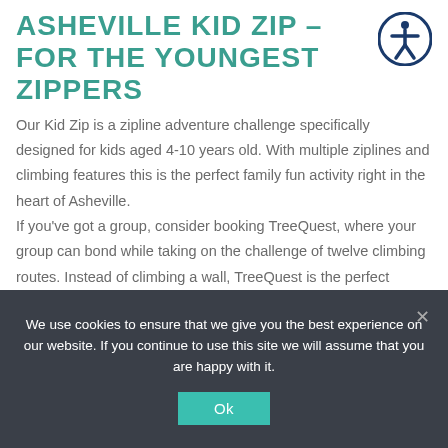ASHEVILLE KID ZIP – FOR THE YOUNGEST ZIPPERS
Our Kid Zip is a zipline adventure challenge specifically designed for kids aged 4-10 years old. With multiple ziplines and climbing features this is the perfect family fun activity right in the heart of Asheville. If you've got a group, consider booking TreeQuest, where your group can bond while taking on the challenge of twelve climbing routes. Instead of climbing a wall, TreeQuest is the perfect combination of tree and wall climbing fun!
We use cookies to ensure that we give you the best experience on our website. If you continue to use this site we will assume that you are happy with it.